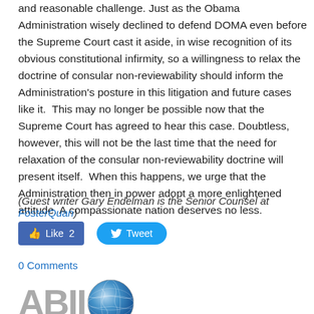and reasonable challenge. Just as the Obama Administration wisely declined to defend DOMA even before the Supreme Court cast it aside, in wise recognition of its obvious constitutional infirmity, so a willingness to relax the doctrine of consular non-reviewability should inform the Administration's posture in this litigation and future cases like it.  This may no longer be possible now that the Supreme Court has agreed to hear this case. Doubtless, however, this will not be the last time that the need for relaxation of the consular non-reviewability doctrine will present itself.  When this happens, we urge that the Administration then in power adopt a more enlightened attitude. A compassionate nation deserves no less.
(Guest writer Gary Endelman is the Senior Counsel at FosterQuan)
[Figure (screenshot): Facebook Like button showing 'Like 2' and Twitter Tweet button]
0 Comments
[Figure (logo): ABII logo with globe icon]